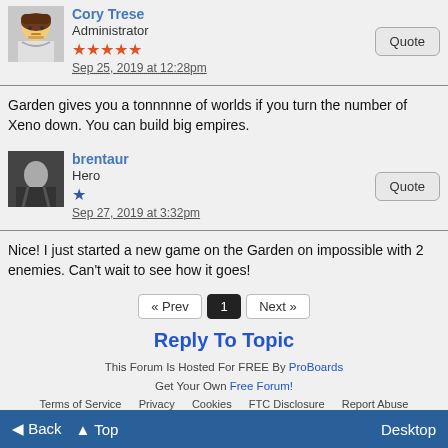Cory Trese
Administrator
Sep 25, 2019 at 12:28pm
Garden gives you a tonnnnne of worlds if you turn the number of Xeno down. You can build big empires.
brentaur
Hero
Sep 27, 2019 at 3:32pm
Nice! I just started a new game on the Garden on impossible with 2 enemies. Can't wait to see how it goes!
« Prev  1  Next »
Reply To Topic
This Forum Is Hosted For FREE By ProBoards
Get Your Own Free Forum!
Terms of Service  Privacy  Cookies  FTC Disclosure  Report Abuse
◄ Back  ▲ Top  Desktop